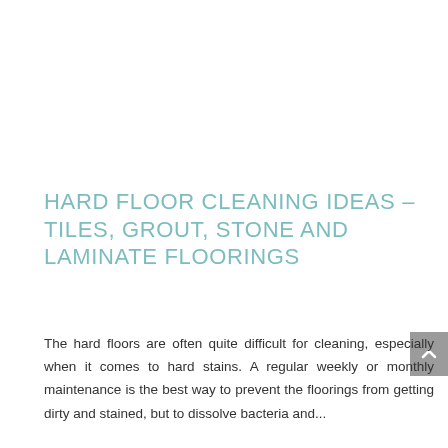HARD FLOOR CLEANING IDEAS – TILES, GROUT, STONE AND LAMINATE FLOORINGS
The hard floors are often quite difficult for cleaning, especially when it comes to hard stains. A regular weekly or monthly maintenance is the best way to prevent the floorings from getting dirty and stained, but to dissolve bacteria and...